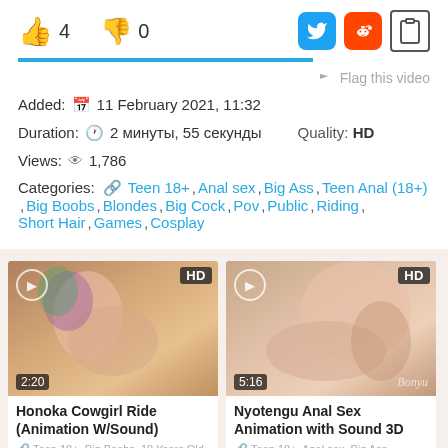👍 4   👎 0
Flag this video
Added: 11 February 2021, 11:32
Duration: 2 минуты, 55 секунды   Quality: HD
Views: 1,786
Categories: Teen 18+, Anal sex, Big Ass, Teen Anal (18+), Big Boobs, Blondes, Big Cock, Pov, Public, Riding, Short Hair, Games, Cosplay
[Figure (photo): Video thumbnail: Honoka Cowgirl Ride (Animation W/Sound), duration 2:20, HD]
Honoka Cowgirl Ride (Animation W/Sound)
Teen 18+, Big Boobs, 18 Years Old
[Figure (photo): Video thumbnail: Nyotengu Anal Sex Animation with Sound 3D, duration 5:16, HD]
Nyotengu Anal Sex Animation with Sound 3D
Teen 18+, Anal sex, Big Ass,